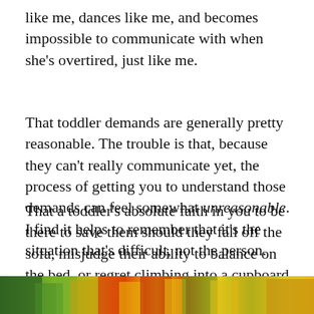like me, dances like me, and becomes impossible to communicate with when she's overtired, just like me.
That toddler demands are generally pretty reasonable. The trouble is that, because they can't really communicate yet, the process of getting you to understand those demands can feel somewhat unreasonable. I find it helps to remember that it's the situation that's difficult, not the person.
That a toddler's absolute faith in you to be there to save them should they fall off the sofa, misjudge their ability to balance on the bed, or regret climbing into a cupboard is both touching and terrifying in equal measure.
[Figure (photo): Colorful flowers or foliage at the bottom of the page, showing greens, reds, yellows in a strip image.]